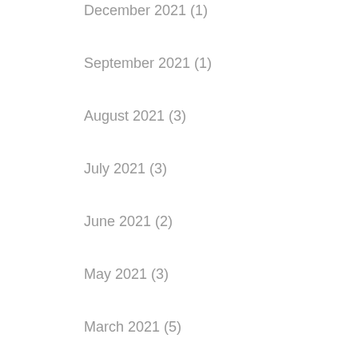December 2021 (1)
September 2021 (1)
August 2021 (3)
July 2021 (3)
June 2021 (2)
May 2021 (3)
March 2021 (5)
February 2021 (3)
December 2020 (5)
November 2020 (4)
July 2020 (1)
December 2017 (4)
October 2017 (3)
September 2017 (3)
July 2017 (1)